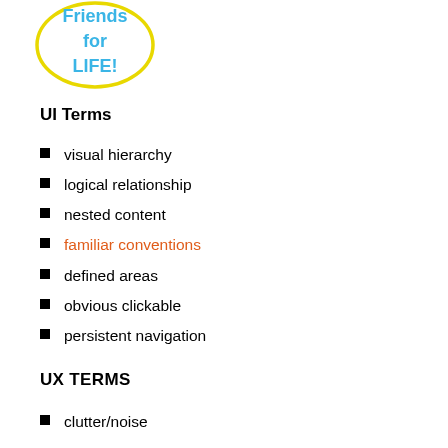[Figure (logo): Yellow oval outline enclosing blue text reading 'Friends for LIFE!']
UI Terms
visual hierarchy
logical relationship
nested content
familiar conventions
defined areas
obvious clickable
persistent navigation
UX TERMS
clutter/noise